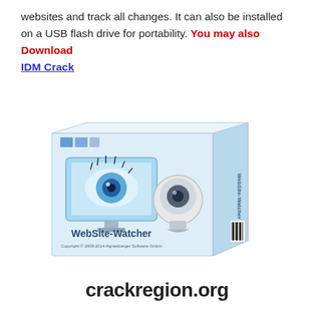websites and track all changes. It can also be installed on a USB flash drive for portability. You may also Download IDM Crack
[Figure (photo): Box art product image for WebSite-Watcher 2014 software, showing a stylized eye on a monitor and a webcam, with 'WebSite-Watcher' text and copyright notice.]
crackregion.org